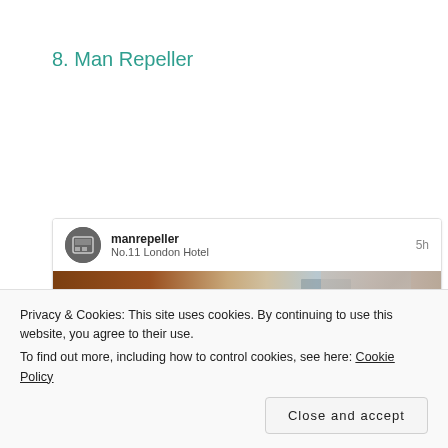8. Man Repeller
[Figure (screenshot): Social media card showing manrepeller account with 'No.11 London Hotel' post, avatar icon, timestamp '5h', and a partial hotel room/interior image below]
Privacy & Cookies: This site uses cookies. By continuing to use this website, you agree to their use.
To find out more, including how to control cookies, see here: Cookie Policy
Close and accept